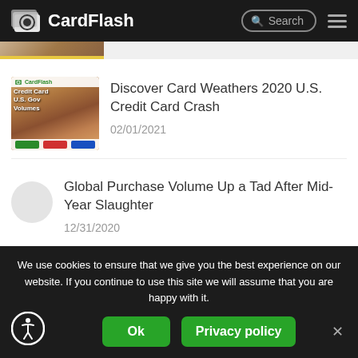CardFlash
[Figure (screenshot): Partial thumbnail strip at top of page showing cropped article image with yellow accent bar]
[Figure (photo): Article thumbnail showing a person wearing mask with shopping bags, CardFlash logo overlay, credit card company logos at bottom]
Discover Card Weathers 2020 U.S. Credit Card Crash
02/01/2021
[Figure (photo): Small circular placeholder thumbnail image]
Global Purchase Volume Up a Tad After Mid-Year Slaughter
12/31/2020
We use cookies to ensure that we give you the best experience on our website. If you continue to use this site we will assume that you are happy with it.